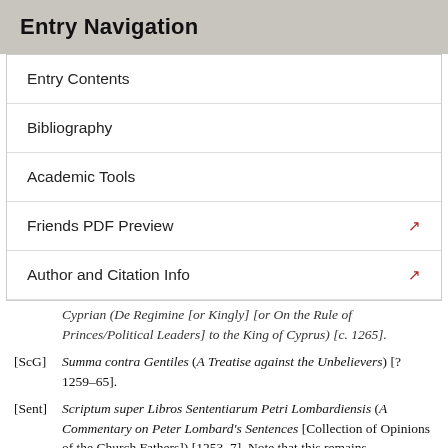Entry Navigation
Entry Contents
Bibliography
Academic Tools
Friends PDF Preview
Author and Citation Info
Cyprian (De Regimine [or Kingly] [or On the Rule of Princes/Political Leaders] to the King of Cyprus) [c. 1265].
[ScG] Summa contra Gentiles (A Treatise against the Unbelievers) [?1259–65].
[Sent] Scriptum super Libros Sententiarum Petri Lombardiensis (A Commentary on Peter Lombard's Sentences [Collection of Opinions of the Church Fathers]) [1253–7]. Note that this remains untranslated save in small excerpts.
[ST] Summa Theologiae (A Treatise on Theology), Parts I